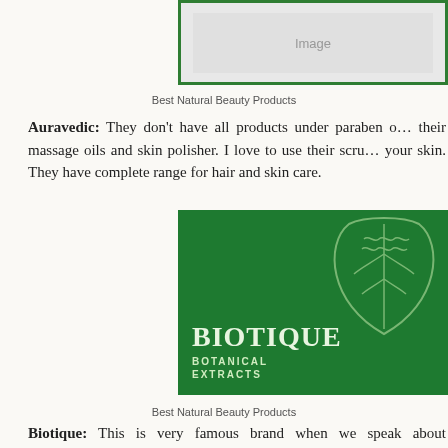[Figure (photo): Top portion of Auravedic brand logo image with green border, partially visible at top of page]
Best Natural Beauty Products
Auravedic: They don't have all products under paraben o... their massage oils and skin polisher. I love to use their scru... your skin. They have complete range for hair and skin care.
[Figure (logo): Biotique brand logo on dark green background featuring a leaf graphic and the text BIOTIQUE BOTANICAL EXTRACTS in white/cream lettering]
Best Natural Beauty Products
Biotique: This is very famous brand when we speak about combination of ayurveda and advance scientific studies...